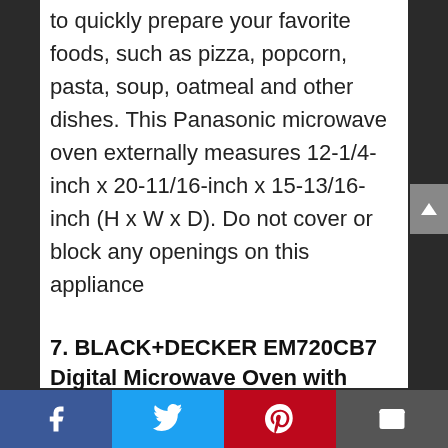to quickly prepare your favorite foods, such as pizza, popcorn, pasta, soup, oatmeal and other dishes. This Panasonic microwave oven externally measures 12-1/4-inch x 20-11/16-inch x 15-13/16-inch (H x W x D). Do not cover or block any openings on this appliance
7. BLACK+DECKER EM720CB7 Digital Microwave Oven with Turntable Push-Button Door,Child Safety Lock,700W, Stainless Steel 0.7 Cu.Ft